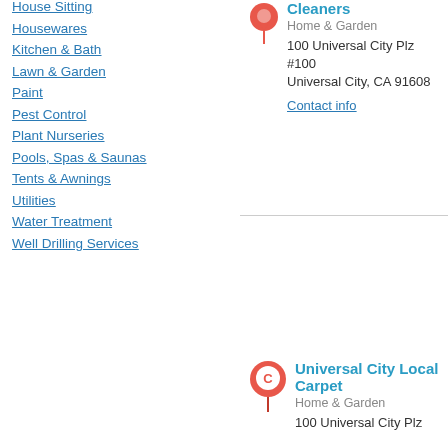House Sitting
Housewares
Kitchen & Bath
Lawn & Garden
Paint
Pest Control
Plant Nurseries
Pools, Spas & Saunas
Tents & Awnings
Utilities
Water Treatment
Well Drilling Services
Cleaners
Home & Garden
100 Universal City Plz #100
Universal City, CA 91608
Contact info
Universal City Local Carpet
Home & Garden
100 Universal City Plz